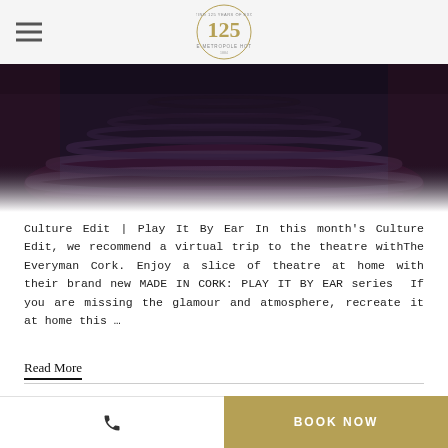The Metropole Hotel 125 – Celebrating 125 Years of Excellence
[Figure (photo): Interior of The Everyman Cork theatre showing curved rows of dark seats in a dimly lit auditorium with a purple/red lighting ambiance]
Culture Edit | Play It By Ear In this month's Culture Edit, we recommend a virtual trip to the theatre withThe Everyman Cork. Enjoy a slice of theatre at home with their brand new MADE IN CORK: PLAY IT BY EAR series  If you are missing the glamour and atmosphere, recreate it at home this …
Read More
BOOK NOW